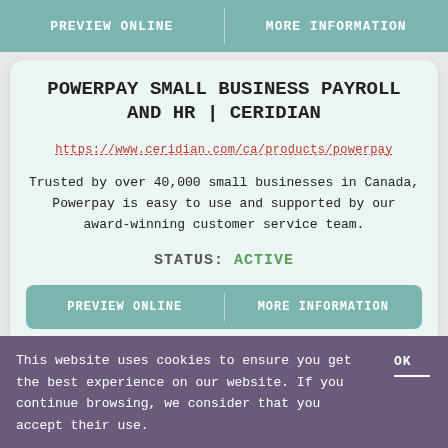PREVIEW ONLINE | MORE INFORMATION
POWERPAY SMALL BUSINESS PAYROLL AND HR | CERIDIAN
https://www.ceridian.com/ca/products/powerpay
Trusted by over 40,000 small businesses in Canada, Powerpay is easy to use and supported by our award-winning customer service team.
STATUS: ACTIVE
PREVIEW ONLINE | MORE INFORMATION
This website uses cookies to ensure you get the best experience on our website. If you continue browsing, we consider that you accept their use.
OK